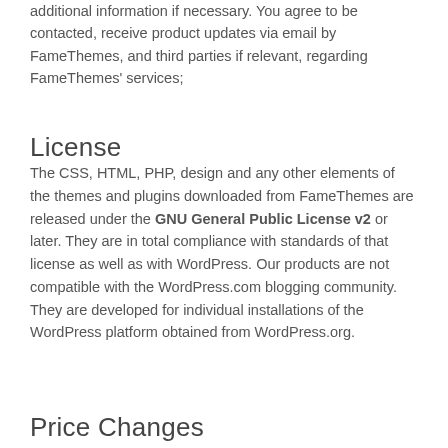additional information if necessary. You agree to be contacted, receive product updates via email by FameThemes, and third parties if relevant, regarding FameThemes' services;
License
The CSS, HTML, PHP, design and any other elements of the themes and plugins downloaded from FameThemes are released under the GNU General Public License v2 or later. They are in total compliance with standards of that license as well as with WordPress. Our products are not compatible with the WordPress.com blogging community. They are developed for individual installations of the WordPress platform obtained from WordPress.org.
Price Changes